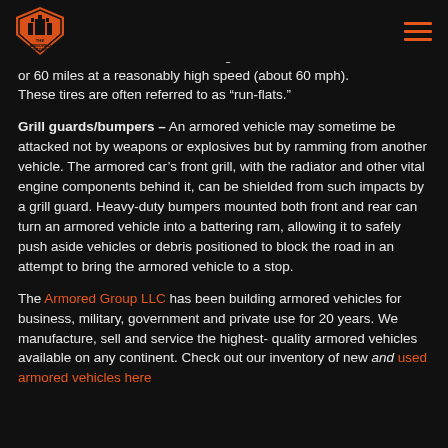The Armored Group
tire itself can be mounted over that. If a tire deflates for any reason, the vehicle can still run on the solid donut underneath, which is durable enough to take the vehicle 50 or 60 miles at a reasonably high speed (about 60 mph). These tires are often referred to as “run-flats.”
Grill guards/bumpers – An armored vehicle may sometime be attacked not by weapons or explosives but by ramming from another vehicle. The armored car’s front grill, with the radiator and other vital engine components behind it, can be shielded from such impacts by a grill guard. Heavy-duty bumpers mounted both front and rear can turn an armored vehicle into a battering ram, allowing it to safely push aside vehicles or debris positioned to block the road in an attempt to bring the armored vehicle to a stop.
The Armored Group LLC has been building armored vehicles for business, military, government and private use for 20 years. We manufacture, sell and service the highest-quality armored vehicles available on any continent. Check out our inventory of new and used armored vehicles here